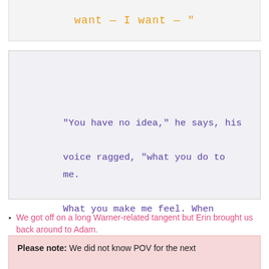want — I want — "
"You have no idea," he says, his voice ragged, "what you do to me. What you make me feel. When you touch me — "
We got off on a long Warner-related tangent but Erin brought us back around to Adam.
Then, Jaime made us talk about Warner some more.
Please note: We did not know POV for the next